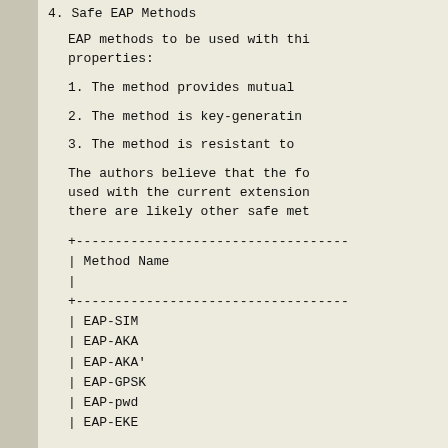4.   Safe EAP Methods
EAP methods to be used with thi
properties:
1.  The method provides mutual
2.  The method is key-generatin
3.  The method is resistant to
The authors believe that the fo
used with the current extension
there are likely other safe met
| Method Name |
| --- |
| EAP-SIM |
| EAP-AKA |
| EAP-AKA' |
| EAP-GPSK |
| EAP-pwd |
| EAP-EKE |